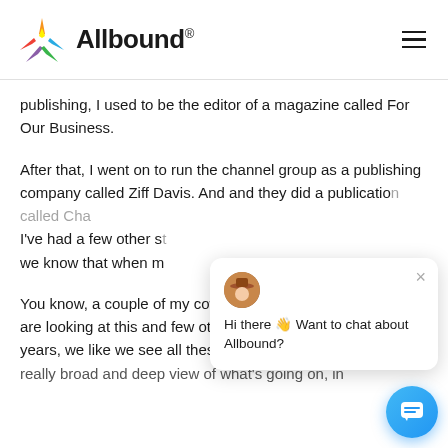Allbound
publishing, I used to be the editor of a magazine called For Our Business.
After that, I went on to run the channel group as a publishing company called Ziff Davis. And and they did a publication called Channel... I've had a few other s... we know that when m...
[Figure (screenshot): Chat popup overlay with avatar and text: Hi there 👋 Want to chat about Allbound?]
You know, a couple of my coworkers now when w... are looking at this and few other people over th... years, we like we see all these things, we have a... really broad and deep view of what's going on, in...